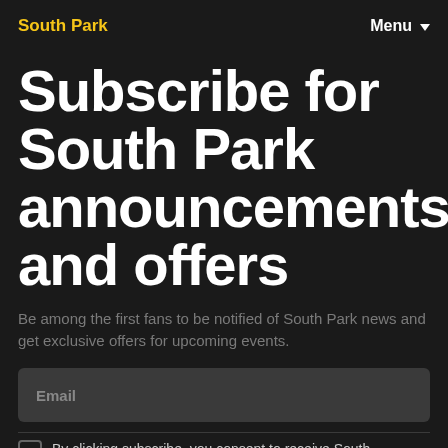South Park   Menu
Subscribe for South Park announcements and offers
Be among the first fans to be notified of South Park news and get exclusive offers for upcoming events.
Email
By clicking subscribe, you consent to receive South